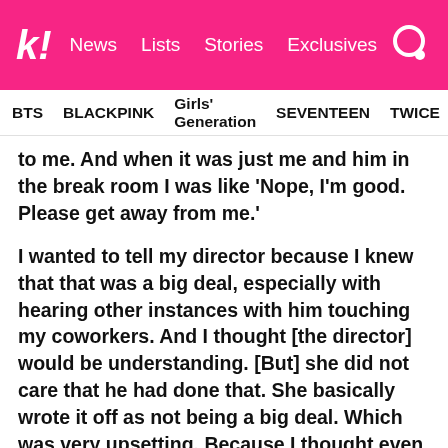k! News Lists Stories Exclusives
BTS BLACKPINK Girls' Generation SEVENTEEN TWICE
to me. And when it was just me and him in the break room I was like ‘Nope, I’m good. Please get away from me.’
I wanted to tell my director because I knew that that was a big deal, especially with hearing other instances with him touching my coworkers. And I thought [the director] would be understanding. [But] she did not care that he had done that. She basically wrote it off as not being a big deal. Which was very upsetting. Because I thought even maybe as a woman she’d